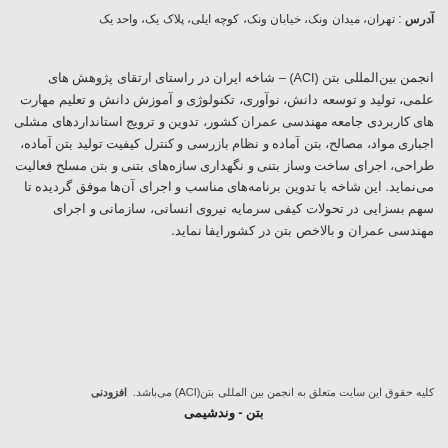آدرس : تهران، میدان ونک، خیابان ونک، کوچه ایلی، پلاک یک، واحد یک
انجمن بین‌المللی بتن (ACI) – شاخه ایران در راستای ارتقای پژوهش های علمی، تولید و توسعه دانش، نوآوری، تکنولوژی و آموزش دانش و تعلیم مهارت های کاربردی جامعه مهندسی عمران کشور، تدوین و ترویج استانداردهای مشلی اجباری مواد، مصالح، بتن آماده و نظام بازرسی و کنترل کیفیت تولید بتن آماده، طراحی، اجرای ساخت وساز بتنی و نگهداری سازه‌های بتنی و بتن مسلح فعالیت می‌نماید. این شاخه با تدوین برنامه‌های مناسب و اجرای آن‌ها موفق گردیده تا سهم بسزایی در تحولات کیفی سرمایه نیروی انسانی، سازمانی و اجرای مهندسی عمران و بالاخص بتن در کشورایفا نماید.
کلیه حقوق این سایت متعلق به انجمن بین المللی بتن(ACI) می‌باشد.  افزودنی بتن - وندشیمی